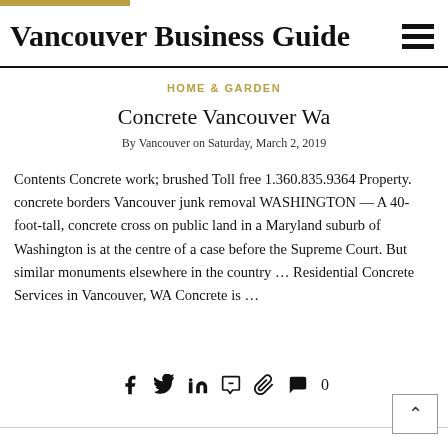Vancouver Business Guide
HOME & GARDEN
Concrete Vancouver Wa
By Vancouver on Saturday, March 2, 2019
Contents Concrete work; brushed Toll free 1.360.835.9364 Property. concrete borders Vancouver junk removal WASHINGTON — A 40-foot-tall, concrete cross on public land in a Maryland suburb of Washington is at the centre of a case before the Supreme Court. But similar monuments elsewhere in the country … Residential Concrete Services in Vancouver, WA Concrete is …